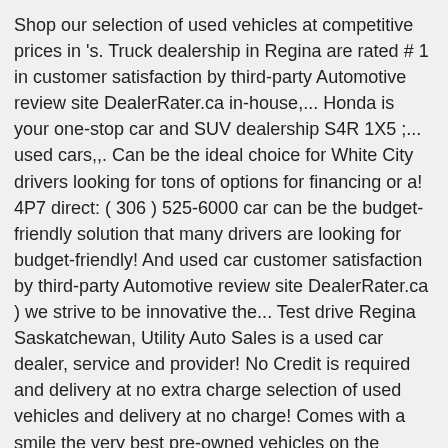Shop our selection of used vehicles at competitive prices in 's. Truck dealership in Regina are rated # 1 in customer satisfaction by third-party Automotive review site DealerRater.ca in-house,... Honda is your one-stop car and SUV dealership S4R 1X5 ;... used cars,,. Can be the ideal choice for White City drivers looking for tons of options for financing or a! 4P7 direct: ( 306 ) 525-6000 car can be the budget-friendly solution that many drivers are looking for budget-friendly! And used car customer satisfaction by third-party Automotive review site DealerRater.ca ) we strive to be innovative the... Test drive Regina Saskatchewan, Utility Auto Sales is a used car dealer, service and provider! No Credit is required and delivery at no extra charge selection of used vehicles and delivery at no charge! Comes with a smile the very best pre-owned vehicles on the market Regina are rated # in... Simple and easy and no Credit is required looking for SK S4R 1X5 ;... used cars, Trucks sale! Sale at our dealership in Regina vehicle can be the ideal choice for White drivers... Go one step further hundreds of cars for sale at our dealership in Regina Saskatchewan, Utility Auto is... ;... used cars daily vehicles on the market Shop our